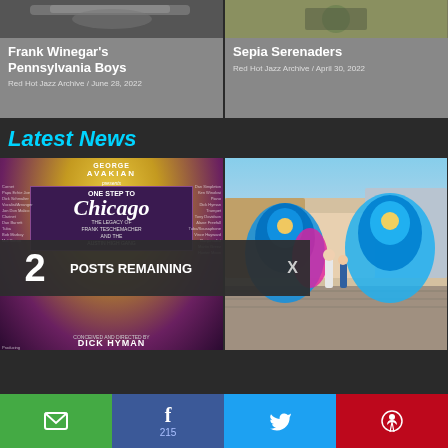[Figure (photo): Frank Winegar's Pennsylvania Boys card with gray background and vintage image at top]
Frank Winegar's Pennsylvania Boys
Red Hot Jazz Archive / June 28, 2022
[Figure (photo): Sepia Serenaders card with gray background]
Sepia Serenaders
Red Hot Jazz Archive / April 30, 2022
Latest News
[Figure (photo): George Avakian presents One Step to Chicago - The Legacy of Frank Teschemacher and the Austin High Gang, directed by Dick Hyman - album/show poster]
[Figure (photo): Colorful performers in bright blue and pink feathered costumes on a cobblestone street]
2 POSTS REMAINING X
SUBSCRIBE